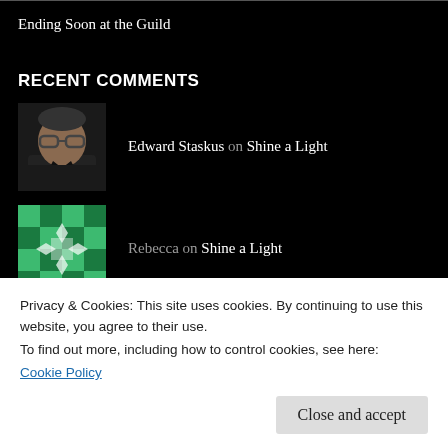Ending Soon at the Guild
RECENT COMMENTS
Edward Staskus on Shine a Light
Rebecca on Shine a Light
Kelly MacKay on Robert Tsonos Returns to the S...
Privacy & Cookies: This site uses cookies. By continuing to use this website, you agree to their use.
To find out more, including how to control cookies, see here:
Cookie Policy
Close and accept